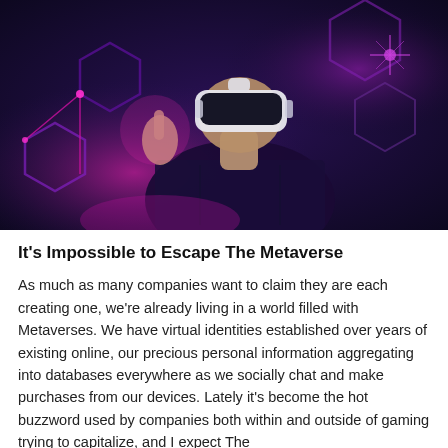[Figure (photo): A person wearing a futuristic white VR headset, pointing with one hand, set against a dark purple background with glowing hexagonal shapes and neon pink/magenta lighting]
It's Impossible to Escape The Metaverse
As much as many companies want to claim they are each creating one, we're already living in a world filled with Metaverses. We have virtual identities established over years of existing online, our precious personal information aggregating into databases everywhere as we socially chat and make purchases from our devices. Lately it's become the hot buzzword used by companies both within and outside of gaming trying to capitalize, and I expect The